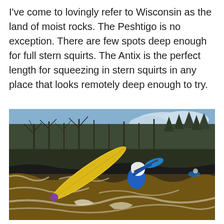I've come to lovingly refer to Wisconsin as the land of moist rocks. The Peshtigo is no exception. There are few spots deep enough for full stern squirts. The Antix is the perfect length for squeezing in stern squirts in any place that looks remotely deep enough to try.
[Figure (photo): A kayaker in a yellow kayak and blue jacket with white helmet performing a stern squirt maneuver on a rocky river, with brown churning whitewater water around dark rocks, and a dense forest of bare deciduous trees and some evergreens in the background under a partly cloudy blue sky.]